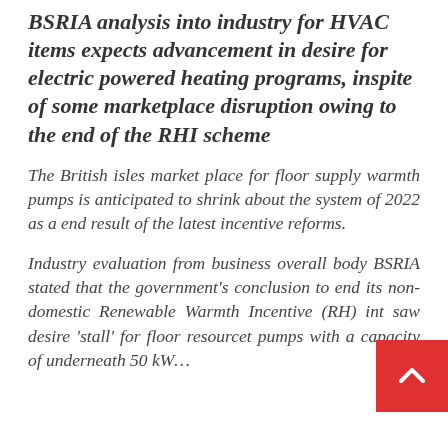BSRIA analysis into industry for HVAC items expects advancement in desire for electric powered heating programs, inspite of some marketplace disruption owing to the end of the RHI scheme
The British isles market place for floor supply warmth pumps is anticipated to shrink about the system of 2022 as a end result of the latest incentive reforms.
Industry evaluation from business overall body BSRIA stated that the government's conclusion to end its non-domestic Renewable Warmth Incentive (RH) in… saw desire 'stall' for floor resource… pumps with a capacity of underneath 50 kW…